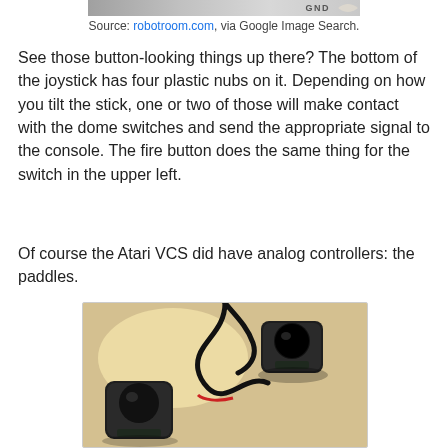[Figure (photo): Partial image at top showing GND label, from robotroom.com via Google Image Search]
Source: robotroom.com, via Google Image Search.
See those button-looking things up there? The bottom of the joystick has four plastic nubs on it. Depending on how you tilt the stick, one or two of those will make contact with the dome switches and send the appropriate signal to the console. The fire button does the same thing for the switch in the upper left.
Of course the Atari VCS did have analog controllers: the paddles.
[Figure (photo): Photo of two Atari VCS paddle controllers on a wooden surface, connected by a cable with a red stripe visible]